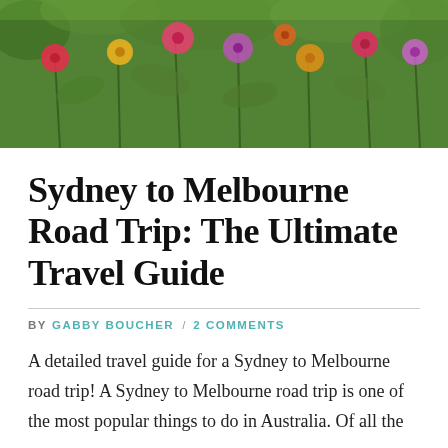[Figure (photo): A colorful wildflower garden with pink, red, yellow flowers and green foliage filling the frame as a hero banner image.]
Sydney to Melbourne Road Trip: The Ultimate Travel Guide
BY GABBY BOUCHER / 2 COMMENTS
A detailed travel guide for a Sydney to Melbourne road trip! A Sydney to Melbourne road trip is one of the most popular things to do in Australia. Of all the